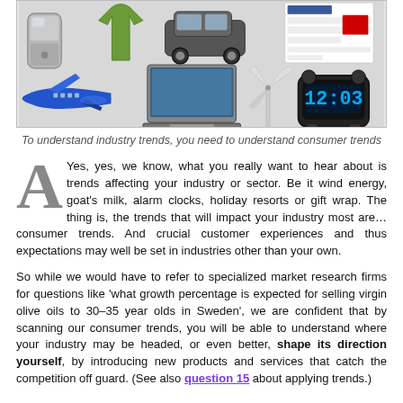[Figure (photo): Collage of consumer products: flip phone, green shirt/clothing, SUV/car, social media screenshot, airplane, laptop, wind turbine, alarm clock]
To understand industry trends, you need to understand consumer trends
Yes, yes, we know, what you really want to hear about is trends affecting your industry or sector. Be it wind energy, goat's milk, alarm clocks, holiday resorts or gift wrap. The thing is, the trends that will impact your industry most are… consumer trends. And crucial customer experiences and thus expectations may well be set in industries other than your own.

So while we would have to refer to specialized market research firms for questions like 'what growth percentage is expected for selling virgin olive oils to 30–35 year olds in Sweden', we are confident that by scanning our consumer trends, you will be able to understand where your industry may be headed, or even better, shape its direction yourself, by introducing new products and services that catch the competition off guard. (See also question 15 about applying trends.)